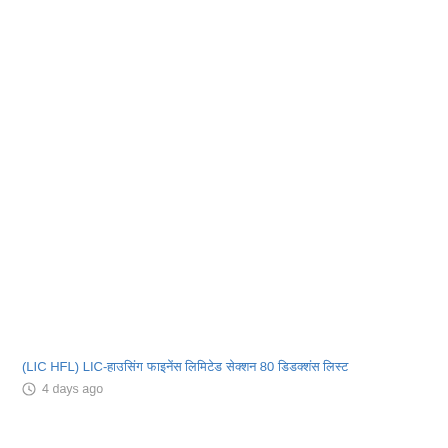(LIC HFL) LIC-हाउसिंग फाइनेंस लिमिटेड सेक्शन 80 डिडक्शंस लिस्ट
4 days ago